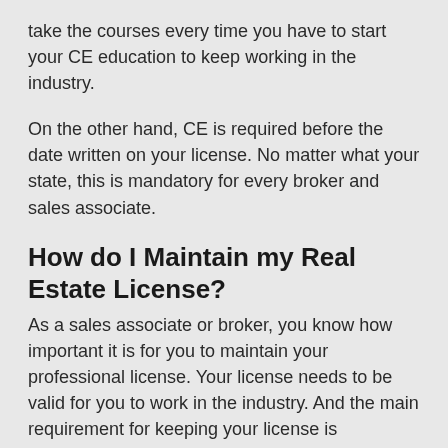take the courses every time you have to start your CE education to keep working in the industry.
On the other hand, CE is required before the date written on your license. No matter what your state, this is mandatory for every broker and sales associate.
How do I Maintain my Real Estate License?
As a sales associate or broker, you know how important it is for you to maintain your professional license. Your license needs to be valid for you to work in the industry. And the main requirement for keeping your license is